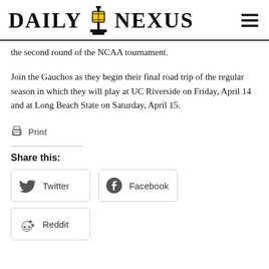DAILY NEXUS
the second round of the NCAA tournament.
Join the Gauchos as they begin their final road trip of the regular season in which they will play at UC Riverside on Friday, April 14 and at Long Beach State on Saturday, April 15.
Print
Share this:
Twitter
Facebook
Reddit